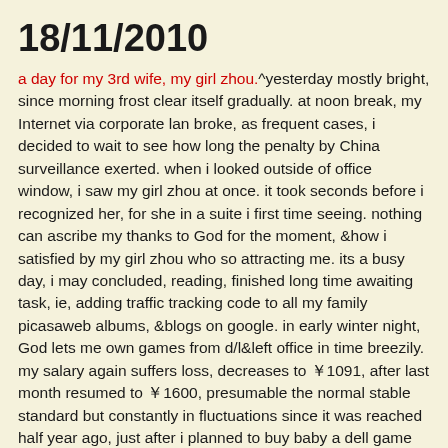18/11/2010
a day for my 3rd wife, my girl zhou.^yesterday mostly bright, since morning frost clear itself gradually. at noon break, my Internet via corporate lan broke, as frequent cases, i decided to wait to see how long the penalty by China surveillance exerted. when i looked outside of office window, i saw my girl zhou at once. it took seconds before i recognized her, for she in a suite i first time seeing. nothing can ascribe my thanks to God for the moment, &how i satisfied by my girl zhou who so attracting me. its a busy day, i may concluded, reading, finished long time awaiting task, ie, adding traffic tracking code to all my family picasaweb albums, &blogs on google. in early winter night, God lets me own games from d/l&left office in time breezily. my salary again suffers loss, decreases to ￥1091, after last month resumed to ￥1600, presumable the normal stable standard but constantly in fluctuations since it was reached half year ago, just after i planned to buy baby a dell game pc. its so nice to know God already arranges my promising life ahead with my girls i searching on web so long. God, let me see the bright